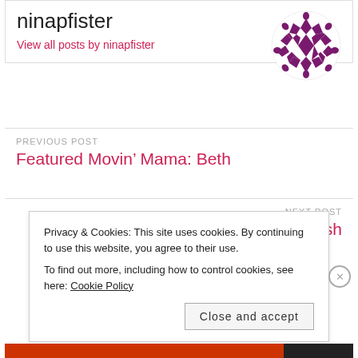ninapfister
View all posts by ninapfister
[Figure (illustration): Circular decorative geometric pattern logo in purple/maroon colors with diamond and star shapes]
PREVIOUS POST
Featured Movin’ Mama: Beth
NEXT POST
Chelsey’s Kitchen: Stuffed Squash
Privacy & Cookies: This site uses cookies. By continuing to use this website, you agree to their use.
To find out more, including how to control cookies, see here: Cookie Policy
Close and accept